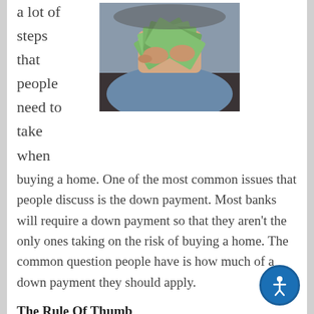a lot of steps that people need to take when
[Figure (photo): Person's hands holding a fan of US $100 dollar bills]
buying a home. One of the most common issues that people discuss is the down payment. Most banks will require a down payment so that they aren't the only ones taking on the risk of buying a home. The common question people have is how much of a down payment they should apply.
The Rule Of Thumb
Most people have heard about placing 20 percent down on a house as a solid rule of thumb. This